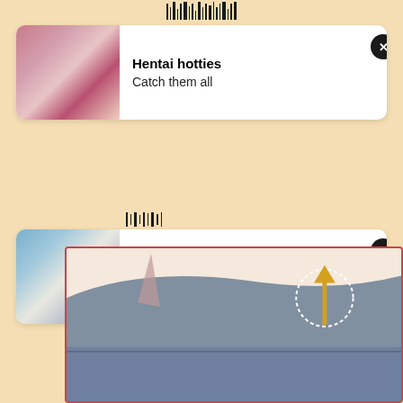[Figure (screenshot): Mobile browser with two ad notification banners labeled 'Hentai hotties / Catch them all' overlaid on a webpage showing an illustration]
Hentai hotties
Catch them all
Hentai hotties
Catch them all